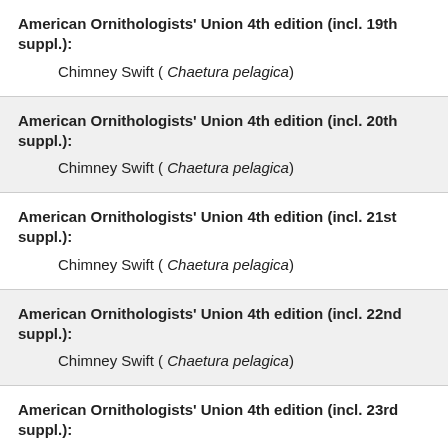American Ornithologists' Union 4th edition (incl. 19th suppl.):
    Chimney Swift ( Chaetura pelagica)
American Ornithologists' Union 4th edition (incl. 20th suppl.):
    Chimney Swift ( Chaetura pelagica)
American Ornithologists' Union 4th edition (incl. 21st suppl.):
    Chimney Swift ( Chaetura pelagica)
American Ornithologists' Union 4th edition (incl. 22nd suppl.):
    Chimney Swift ( Chaetura pelagica)
American Ornithologists' Union 4th edition (incl. 23rd suppl.):